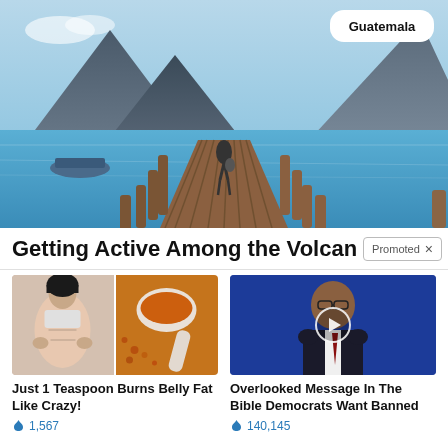[Figure (photo): Photo of a wooden pier/dock extending over a blue lake with volcanic mountains in the background, a person standing on the dock, Guatemala label badge in top right]
Getting Active Among the Volcanoe
Promoted ×
[Figure (photo): Ad image showing a woman's toned midsection and a spoon with orange spice/powder]
Just 1 Teaspoon Burns Belly Fat Like Crazy!
🔥 1,567
[Figure (photo): Ad video thumbnail showing an elderly man in a suit against a blue background with a play button overlay]
Overlooked Message In The Bible Democrats Want Banned
🔥 140,145